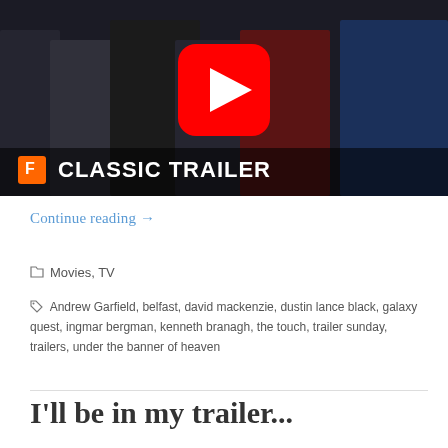[Figure (screenshot): YouTube video thumbnail showing a movie scene with multiple actors in costume, a red YouTube play button in the center, and text overlay reading 'CLASSIC TRAILER' with a Fandango logo on the left]
Continue reading →
Movies, TV
Andrew Garfield, belfast, david mackenzie, dustin lance black, galaxy quest, ingmar bergman, kenneth branagh, the touch, trailer sunday, trailers, under the banner of heaven
I'll be in my trailer...